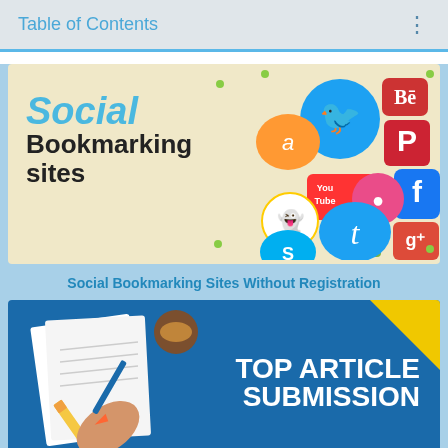Table of Contents
[Figure (illustration): Social Bookmarking Sites banner with social media icons (Twitter, Facebook, Pinterest, Behance, Amazon, YouTube, Dribbble, Windows, Snapchat, Twitter/Tumblr, Google+, Skype) on a beige background with text 'Social Bookmarking sites']
Social Bookmarking Sites Without Registration
[Figure (illustration): Top Article Submission banner with blue background, yellow corner, pencil writing on paper illustration, and bold white text 'TOP ARTICLE SUBMISSION']